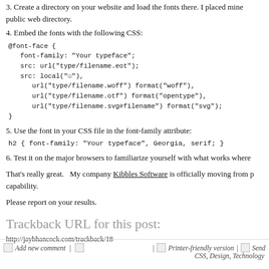3. Create a directory on your website and load the fonts there. I placed mine public web directory.
4. Embed the fonts with the following CSS:
@font-face {
   font-family: "Your typeface";
   src: url("type/filename.eot");
   src: local("☺"),
      url("type/filename.woff") format("woff"),
      url("type/filename.otf") format("opentype"),
      url("type/filename.svg#filename") format("svg");
}
5. Use the font in your CSS file in the font-family attribute:
h2 { font-family: "Your typeface", Georgia, serif; }
6. Test it on the major browsers to familiarize yourself with what works where
That's really great.   My company Kibbles Software is officially moving from p capability.
Please report on your results.
Trackback URL for this post:
http://jaybhancock.com/trackback/18
Add new comment | Printer-friendly version | Send CSS, Design, Technology